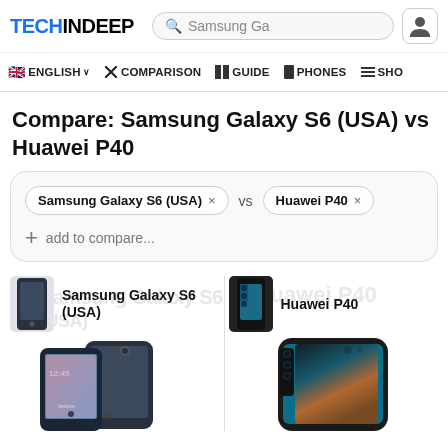TECHINDEEP — Samsung Ga (search)
ENGLISH ∨  ✕ COMPARISON  GUIDE  PHONES  SHO
Compare: Samsung Galaxy S6 (USA) vs Huawei P40
Samsung Galaxy S6 (USA) × vs Huawei P40 × | + add to compare...
[Figure (screenshot): Product comparison thumbnails showing Samsung Galaxy S6 (USA) and Huawei P40 phone images with watermark text and phone photos]
Samsung Galaxy S6 (USA)
Huawei P40